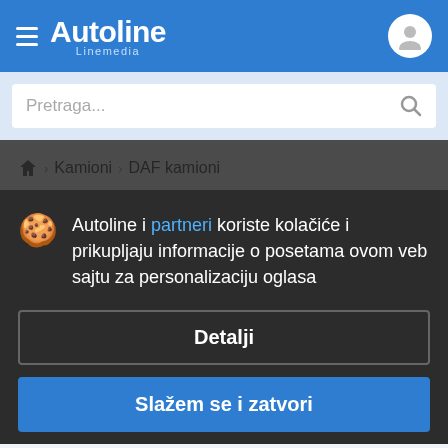Autoline Linemedia
Pretraga...
🏠 › Kamioni › DAF kamioni
DAF kamioni iz Mađarske
Autoline i partneri koriste kolačiće i prikupljaju informacije o posetama ovom veb sajtu za personalizaciju oglasa
Detalji
Slažem se i zatvori
DAF kamioni iz Mađarske: 75 oglasa